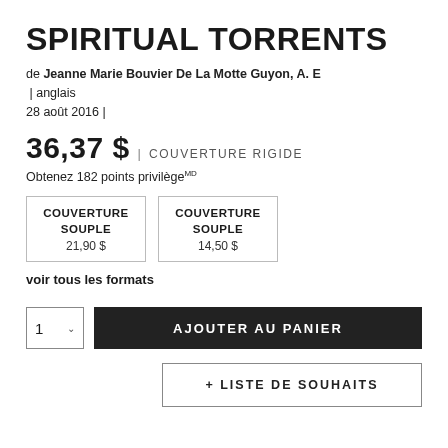SPIRITUAL TORRENTS
de Jeanne Marie Bouvier De La Motte Guyon, A. E | anglais
28 août 2016 |
36,37 $ | COUVERTURE RIGIDE
Obtenez 182 points privilège℠
COUVERTURE SOUPLE 21,90 $
COUVERTURE SOUPLE 14,50 $
voir tous les formats
AJOUTER AU PANIER
+ LISTE DE SOUHAITS